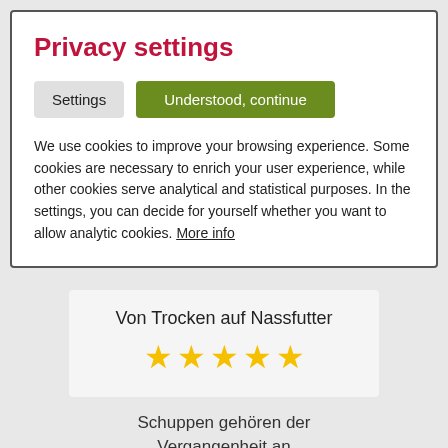Privacy settings
Settings | Understood, continue
We use cookies to improve your browsing experience. Some cookies are necessary to enrich your user experience, while other cookies serve analytical and statistical purposes. In the settings, you can decide for yourself whether you want to allow analytic cookies. More info
Von Trocken auf Nassfutter
[Figure (infographic): Five gold stars rating]
Schuppen gehören der Vergangenheit an